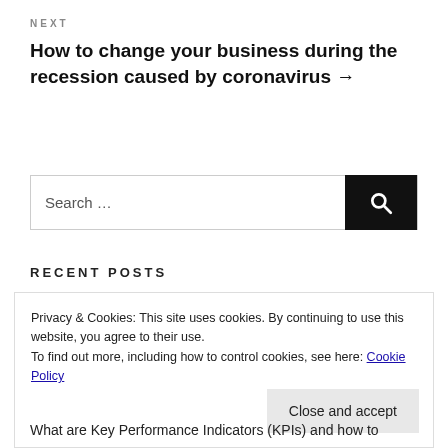NEXT
How to change your business during the recession caused by coronavirus →
[Figure (other): Search bar with text 'Search ...' and a black search button with magnifying glass icon]
RECENT POSTS
Privacy & Cookies: This site uses cookies. By continuing to use this website, you agree to their use.
To find out more, including how to control cookies, see here: Cookie Policy
Close and accept
What are Key Performance Indicators (KPIs) and how to